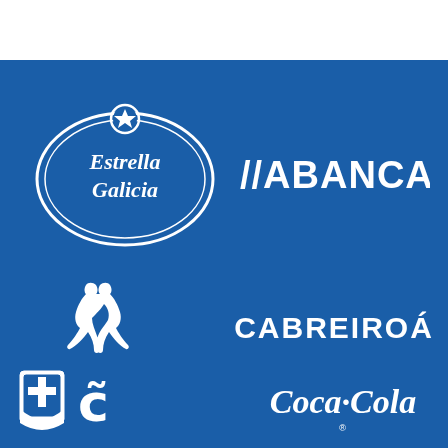[Figure (logo): Estrella Galicia beer logo - white oval with star and gothic text on blue background]
[Figure (logo): ABANCA bank logo - white text with double slash on blue background]
[Figure (logo): Kappa sportswear logo - two back-to-back silhouettes in white on blue background]
[Figure (logo): Cabreiroá mineral water logo - white text on blue background]
[Figure (logo): Bottom left logos: municipal crest and tilde-c symbol]
[Figure (logo): Coca-Cola logo in white on blue background]